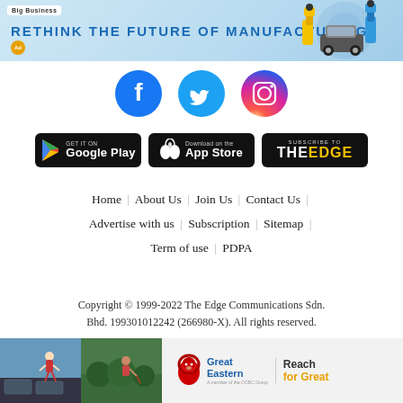[Figure (infographic): Banner advertisement: 'RETHINK THE FUTURE OF MANUFACTURING' with blue gradient background, Big Business logo, and industrial robot illustration on the right.]
[Figure (infographic): Social media icons: Facebook (blue circle with f), Twitter (blue circle with bird), Instagram (gradient circle with camera).]
[Figure (infographic): App store buttons: Google Play, App Store, and Subscribe to The Edge.]
Home | About Us | Join Us | Contact Us | Advertise with us | Subscription | Sitemap | Term of use | PDPA
Copyright © 1999-2022 The Edge Communications Sdn. Bhd. 199301012242 (266980-X). All rights reserved.
[Figure (infographic): Bottom advertisement for Great Eastern insurance with photos of people and 'Reach for Great' tagline.]